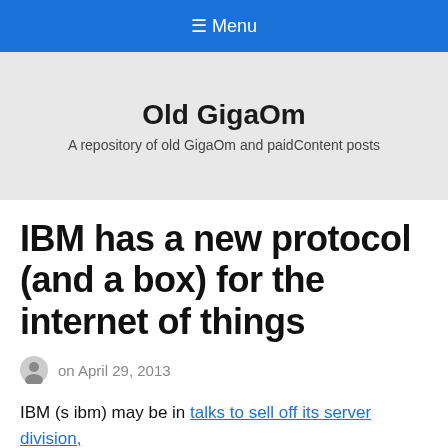≡ Menu
Old GigaOm
A repository of old GigaOm and paidContent posts
IBM has a new protocol (and a box) for the internet of things
on April 29, 2013
IBM (s ibm) may be in talks to sell off its server division,